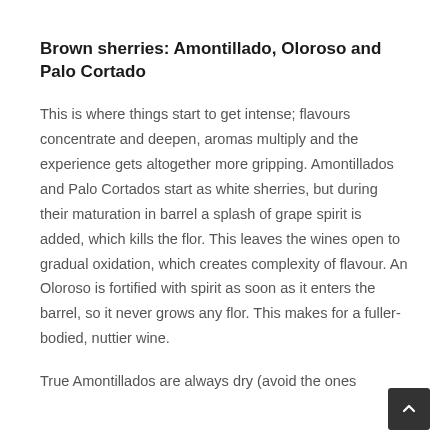Brown sherries: Amontillado, Oloroso and Palo Cortado
This is where things start to get intense; flavours concentrate and deepen, aromas multiply and the experience gets altogether more gripping. Amontillados and Palo Cortados start as white sherries, but during their maturation in barrel a splash of grape spirit is added, which kills the flor. This leaves the wines open to gradual oxidation, which creates complexity of flavour. An Oloroso is fortified with spirit as soon as it enters the barrel, so it never grows any flor. This makes for a fuller-bodied, nuttier wine.
True Amontillados are always dry (avoid the ones called Amontillado Medium, that they are better…